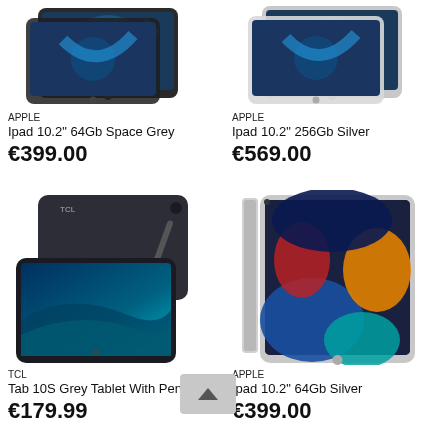[Figure (photo): Apple iPad 10.2 inch 64Gb Space Grey tablet product image]
APPLE
Ipad 10.2" 64Gb Space Grey
€399.00
[Figure (photo): Apple iPad 10.2 inch 256Gb Silver tablet product image]
APPLE
Ipad 10.2" 256Gb Silver
€569.00
[Figure (photo): TCL Tab 10S Grey Tablet with Pen product image]
TCL
Tab 10S Grey Tablet With Pen
€179.99
[Figure (photo): Apple iPad 10.2 inch 64Gb Silver tablet product image]
APPLE
Ipad 10.2" 64Gb Silver
€399.00